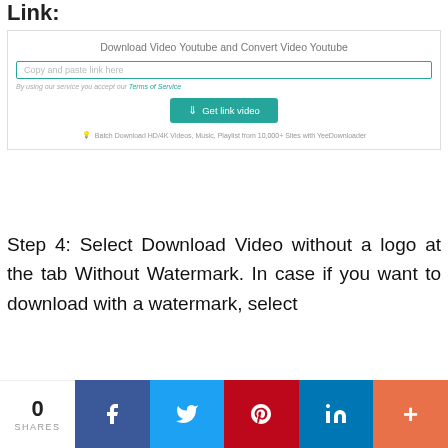Link:
[Figure (screenshot): Website widget for Download Video Youtube and Convert Video Youtube, with a text input field 'Copy and paste link here', Terms of Service note, a teal 'Get link video' download button, and a promo text about batch downloading.]
Step 4: Select Download Video without a logo at the tab Without Watermark. In case if you want to download with a watermark, select
0 SHARES
[Figure (infographic): Social share bar with Facebook, Twitter, Pinterest, LinkedIn, and a plus button icons in their brand colors.]